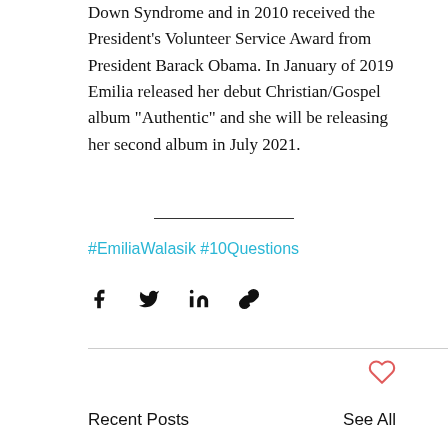Down Syndrome and in 2010 received the President's Volunteer Service Award from President Barack Obama. In January of 2019 Emilia released her debut Christian/Gospel album "Authentic" and she will be releasing her second album in July 2021.
#EmiliaWalasik #10Questions
[Figure (infographic): Social share buttons: Facebook, Twitter, LinkedIn, and a link/copy icon]
Recent Posts
See All